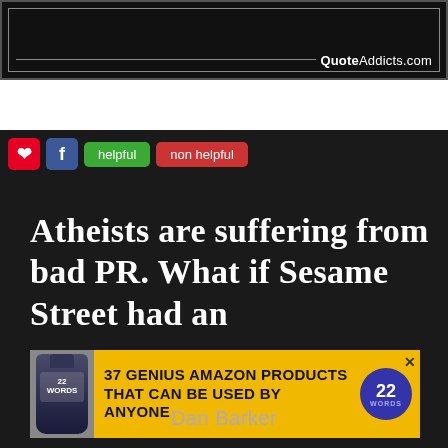[Figure (screenshot): Top portion of a QuoteAddicts.com website screenshot showing a dark banner with the QuoteAddicts.com logo in the lower right corner]
[Figure (screenshot): Lower section of QuoteAddicts.com page showing social sharing buttons (Pinterest, Facebook), helpful/non-helpful buttons, a quote by Dan Barker reading 'Atheists are suffering from bad PR. What if Sesame Street had an...' and an overlaid advertisement banner for '37 Genius Amazon Products That Can Be Used By Anyone']